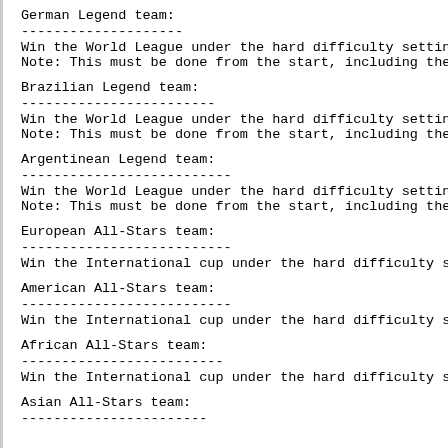German Legend team:
--------------------
Win the World League under the hard difficulty setting
Note: This must be done from the start, including the
Brazilian Legend team:
------------------------
Win the World League under the hard difficulty setting
Note: This must be done from the start, including the
Argentinean Legend team:
--------------------------
Win the World League under the hard difficulty setting
Note: This must be done from the start, including the
European All-Stars team:
--------------------------
Win the International cup under the hard difficulty se
American All-Stars team:
--------------------------
Win the International cup under the hard difficulty se
African All-Stars team:
-------------------------
Win the International cup under the hard difficulty se
Asian All-Stars team:
-----------------------